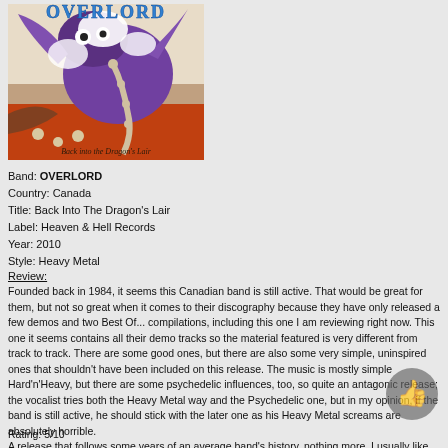[Figure (illustration): Album cover art for Overlord 'Back into the Dragon's Lair' showing a monster/dragon creature with the band name in stylized blue letters at the top]
Band: OVERLORD
Country: Canada
Title: Back Into The Dragon's Lair
Label: Heaven & Hell Records
Year: 2010
Style: Heavy Metal
Review:
Founded back in 1984, it seems this Canadian band is still active. That would be great for them, but not so great when it comes to their discography because they have only released a few demos and two Best Of... compilations, including this one I am reviewing right now. This one it seems contains all their demo tracks so the material featured is very different from track to track. There are some good ones, but there are also some very simple, uninspired ones that shouldn't have been included on this release. The music is mostly simple Hard'n'Heavy, but there are some psychedelic influences, too, so quite an antagonic release; the vocalist tries both the Heavy Metal way and the Psychedelic one, but in my opinion, if the band is still active, he should stick with the later one as his Heavy Metal screams are absolutely horrible.
A release that follows some years of an average band's history, nothing more. I usually like what H&H Records are releasing within their Lost Relics series, but I would have to ignore this one (excepting some tracks).
Reviewed by Adrian
Rating: 5/10